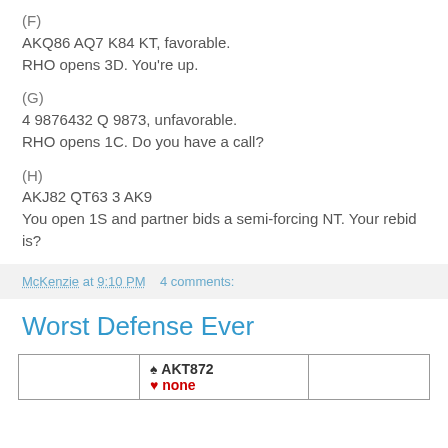(F)
AKQ86 AQ7 K84 KT, favorable.
RHO opens 3D. You're up.
(G)
4 9876432 Q 9873, unfavorable.
RHO opens 1C. Do you have a call?
(H)
AKJ82 QT63 3 AK9
You open 1S and partner bids a semi-forcing NT. Your rebid is?
McKenzie at 9:10 PM    4 comments:
Worst Defense Ever
|  | North |  |
| --- | --- | --- |
|  | ♠ AKT872 |  |
|  | ♥ none |  |